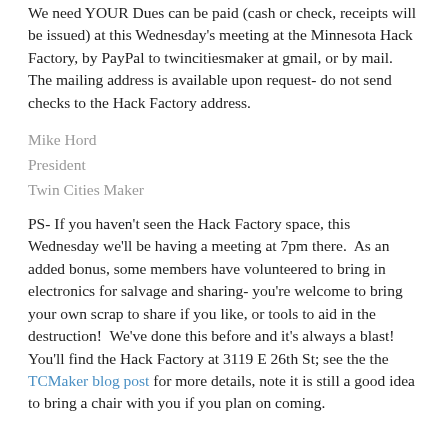We need YOUR Dues can be paid (cash or check, receipts will be issued) at this Wednesday's meeting at the Minnesota Hack Factory, by PayPal to twincitiesmaker at gmail, or by mail.  The mailing address is available upon request- do not send checks to the Hack Factory address.
Mike Hord
President
Twin Cities Maker
PS- If you haven't seen the Hack Factory space, this Wednesday we'll be having a meeting at 7pm there.  As an added bonus, some members have volunteered to bring in electronics for salvage and sharing- you're welcome to bring your own scrap to share if you like, or tools to aid in the destruction!  We've done this before and it's always a blast!  You'll find the Hack Factory at 3119 E 26th St; see the the TCMaker blog post for more details, note it is still a good idea to bring a chair with you if you plan on coming.